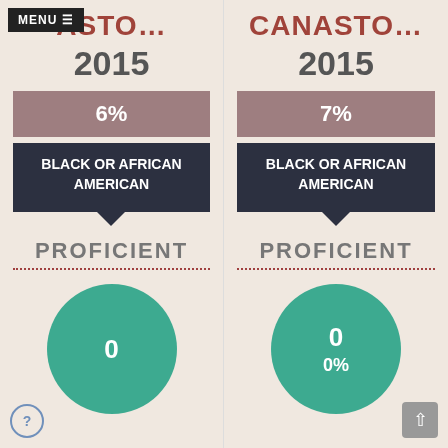[Figure (infographic): Left panel: School name 'ASTO...' (partially visible with MENU button overlay), year 2015, 6% bar (Black or African American), PROFICIENT label with dotted underline, teal circle showing 0]
[Figure (infographic): Right panel: School name 'CANASTO...', year 2015, 7% bar (Black or African American), PROFICIENT label with dotted underline, teal circle showing 0 / 0%]
Back to top button and help icon